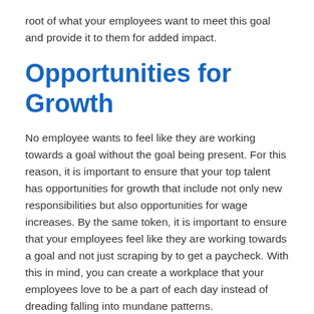root of what your employees want to meet this goal and provide it to them for added impact.
Opportunities for Growth
No employee wants to feel like they are working towards a goal without the goal being present. For this reason, it is important to ensure that your top talent has opportunities for growth that include not only new responsibilities but also opportunities for wage increases. By the same token, it is important to ensure that your employees feel like they are working towards a goal and not just scraping by to get a paycheck. With this in mind, you can create a workplace that your employees love to be a part of each day instead of dreading falling into mundane patterns.